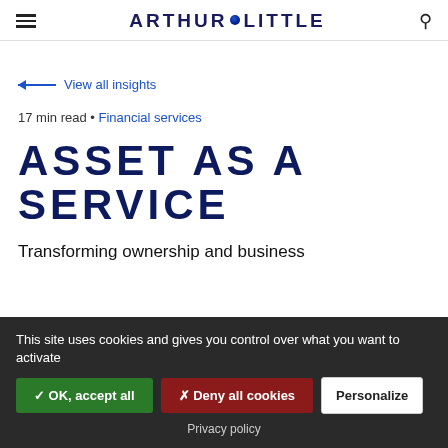ARTHUR LITTLE
← View all insights
17 min read • Financial services
ASSET AS A SERVICE
Transforming ownership and business
This site uses cookies and gives you control over what you want to activate
✓ OK, accept all | ✗ Deny all cookies | Personalize
Privacy policy